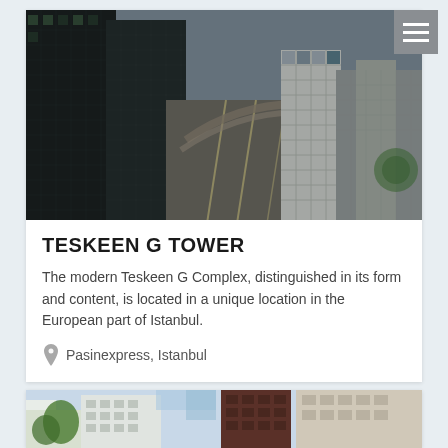[Figure (photo): Aerial/top-down photograph of modern city skyscrapers and urban highway interchange, Istanbul]
TESKEEN G TOWER
The modern Teskeen G Complex, distinguished in its form and content, is located in a unique location in the European part of Istanbul.
Pasinexpress, Istanbul
[Figure (photo): Partial view of modern apartment buildings at bottom of page]